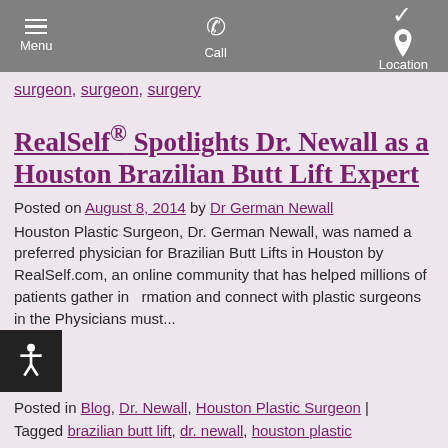Menu | Call | Location
surgeon, surgeon, surgery
RealSelf® Spotlights Dr. Newall as a Houston Brazilian Butt Lift Expert
Posted on August 8, 2014 by Dr German Newall
Houston Plastic Surgeon, Dr. German Newall, was named a preferred physician for Brazilian Butt Lifts in Houston by RealSelf.com, an online community that has helped millions of patients gather information and connect with plastic surgeons in the Physicians must...
Posted in Blog, Dr. Newall, Houston Plastic Surgeon | Tagged brazilian butt lift, dr. newall, houston plastic